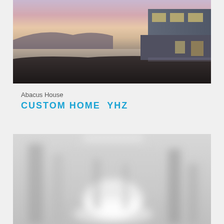[Figure (photo): Exterior photo of a modern cubic house on a coastal landscape at dusk with purple-pink sky, calm water in background and dark rocky ground in foreground]
Abacus House
CUSTOM HOME  YHZ
[Figure (photo): Blurred interior photo of a modern home showing white walls, hallway and living space, heavily defocused]